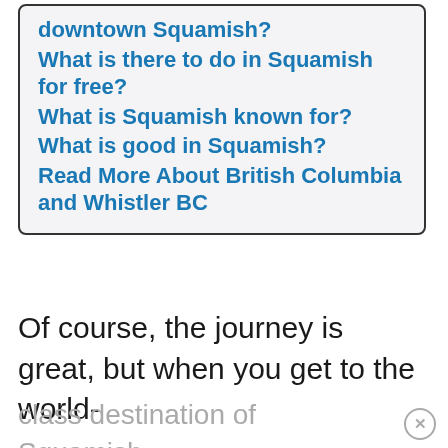downtown Squamish?
What is there to do in Squamish for free?
What is Squamish known for?
What is good in Squamish?
Read More About British Columbia and Whistler BC
Of course, the journey is great, but when you get to the world-class destination of Squamish the amount of things to...